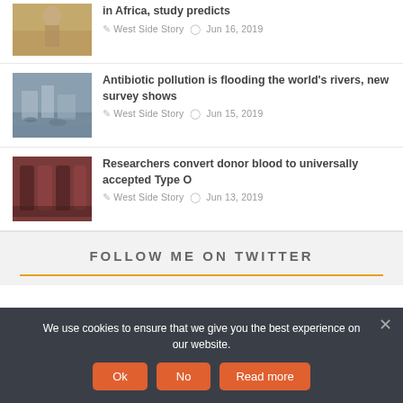[Figure (photo): Thumbnail photo showing a person standing in a dry, arid African landscape]
in Africa, study predicts
West Side Story  Jun 16, 2019
[Figure (photo): Thumbnail photo of a city river scene with boats and urban buildings]
Antibiotic pollution is flooding the world's rivers, new survey shows
West Side Story  Jun 15, 2019
[Figure (photo): Thumbnail photo of blood bags]
Researchers convert donor blood to universally accepted Type O
West Side Story  Jun 13, 2019
FOLLOW ME ON TWITTER
We use cookies to ensure that we give you the best experience on our website.